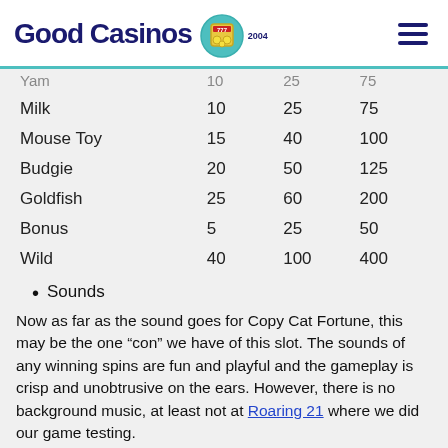Good Casinos 2004
|  |  |  |  |
| --- | --- | --- | --- |
| Yam | 10 | 25 | 75 |
| Milk | 10 | 25 | 75 |
| Mouse Toy | 15 | 40 | 100 |
| Budgie | 20 | 50 | 125 |
| Goldfish | 25 | 60 | 200 |
| Bonus | 5 | 25 | 50 |
| Wild | 40 | 100 | 400 |
Sounds
Now as far as the sound goes for Copy Cat Fortune, this may be the one “con” we have of this slot. The sounds of any winning spins are fun and playful and the gameplay is crisp and unobtrusive on the ears. However, there is no background music, at least not at Roaring 21 where we did our game testing.
This may not bother you if you’re willing to just listen to the solid “chunk-chunk-chunk” of the reels coming to a stop.